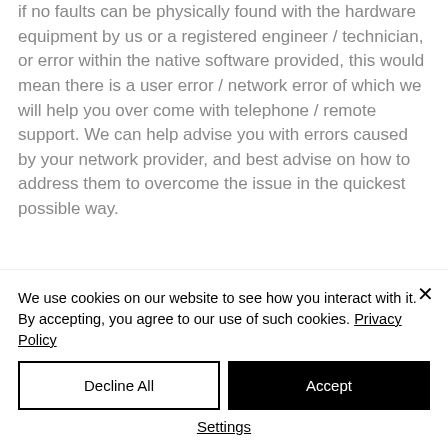if no faults can be physically found with the hardware equipment by us or a registered engineer / technician, or error within the native software provided, this would mean there is a user error / network error of which we will help you over come with telephone / remote support. We can help advise you with errors caused by your network provider, and best advise on how to address them to overcome the issue in the quickest possible way.
We use cookies on our website to see how you interact with it. By accepting, you agree to our use of such cookies. Privacy Policy
Decline All
Accept
Settings